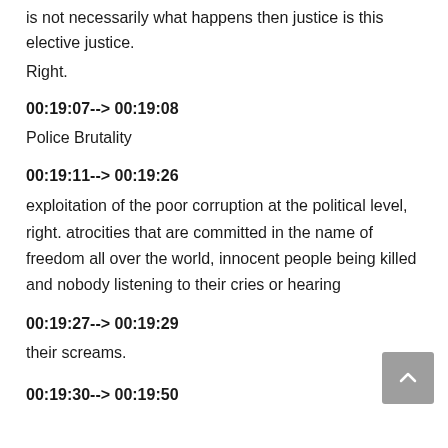is not necessarily what happens then justice is this elective justice.
Right.
00:19:07--> 00:19:08
Police Brutality
00:19:11--> 00:19:26
exploitation of the poor corruption at the political level, right. atrocities that are committed in the name of freedom all over the world, innocent people being killed and nobody listening to their cries or hearing
00:19:27--> 00:19:29
their screams.
00:19:30--> 00:19:50